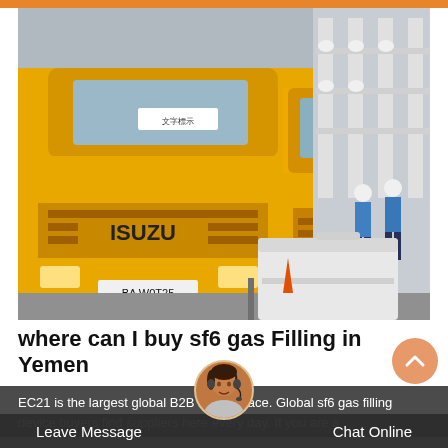[Figure (photo): Two yellow ISUZU trucks parked at an industrial/electrical substation. Workers in blue uniforms and hard hats are visible in the background near electrical equipment. A large white bin/container is in the foreground. License plate reads BA W0T25.]
where can I buy sf6 gas Filling in Yemen
EC21 is the largest global B2B marketplace. Global sf6 gas filling device buyers find suppliers here every day. If you are a
Leave Message   Chat Online